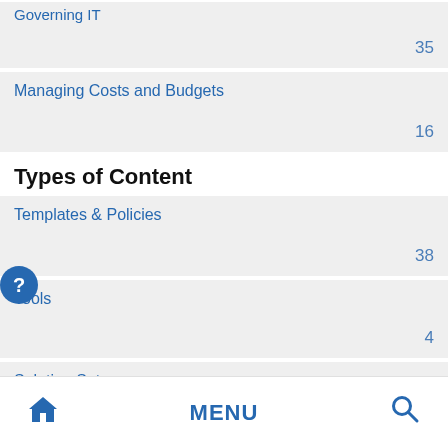Governing IT
35
Managing Costs and Budgets
16
Types of Content
Templates & Policies
38
Tools
4
Solution Sets
2
Storyboards
7
Home  MENU  Search